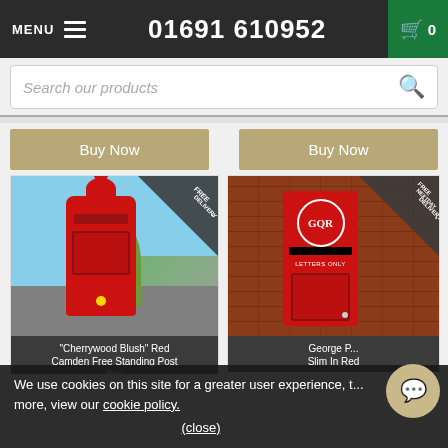MENU  01691 610952  [cart] 0
Search our products
Buy Now | Buy Now
[Figure (photo): Red ornate Victorian-style free standing post box in a garden setting with FREE DELIVERY badge]
[Figure (photo): Red GR wall-mounted slim post box on brick wall with FREE NEXT DAY DELIVERY badge]
"Cherrywood Blush" Red Camden Free Standing Post Box
WAS £270.00  £216.00
George P... Slim In Red...
We use cookies on this site for a greater user experience, t... more, view our cookie policy. (close)